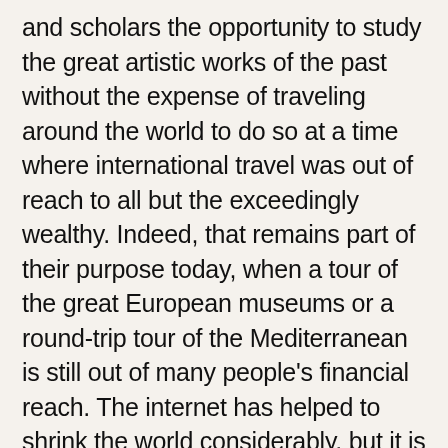and scholars the opportunity to study the great artistic works of the past without the expense of traveling around the world to do so at a time where international travel was out of reach to all but the exceedingly wealthy. Indeed, that remains part of their purpose today, when a tour of the great European museums or a round-trip tour of the Mediterranean is still out of many people's financial reach. The internet has helped to shrink the world considerably, but it is still one thing to see a picture of something and quite another to stand next to it— to be able to appreciate a sense of detail and scale.
Casts were/are also a way to spread around a finite resource. We only have a relatively small